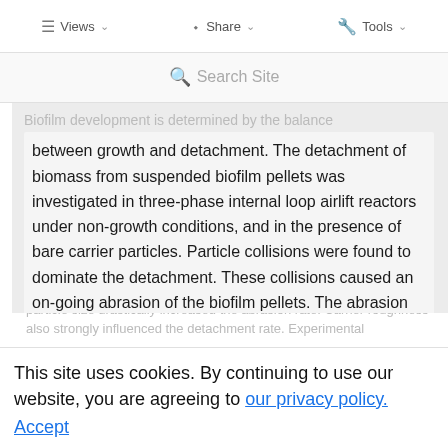Water Sci. Technol. (1997) 36 (1): 221–228. https://doi.org/10.2166/wst.1997.0052
Views  Share  Tools
Search Site
Biofilm development is determined by the balance between growth and detachment. The detachment of biomass from suspended biofilm pellets was investigated in three-phase internal loop airlift reactors under non-growth conditions, and in the presence of bare carrier particles. Particle collisions were found to dominate the detachment. These collisions caused an on-going abrasion of the biofilm pellets. The abrasion rate was linear with both the concentration of biofilm pellets and the
bare carrier particles up to a solids hold-up of 30%. An increase in particle size drastically increased the abrasion rate. Carrier roughness also strongly influenced the detachment rate. Experimental
This site uses cookies. By continuing to use our website, you are agreeing to our privacy policy.
Accept